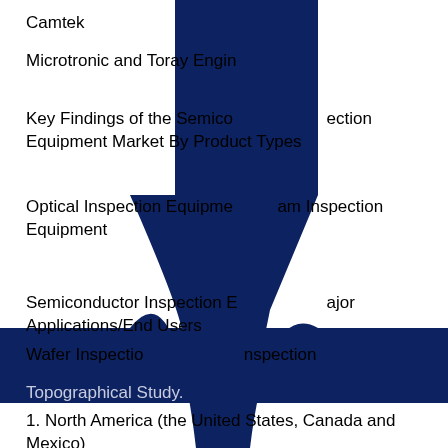Camtek
Microtronic and Toray Engineering
Key Findings of the Semiconductor Inspection Equipment Market By Product Types
Optical Inspection Equipment, Beam Inspection Equipment
Semiconductor Inspection Equipment Major Applications/End Users
Wafer Inspection, ... Inspection Topographical Study.
1. North America (the United States, Canada and Mexico)